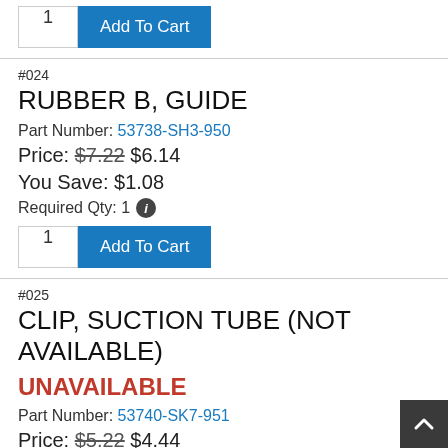[Figure (other): Add To Cart button row with quantity input showing '1' and blue 'Add To Cart' button]
#024
RUBBER B, GUIDE
Part Number: 53738-SH3-950
Price: $7.22 $6.14
You Save: $1.08
Required Qty: 1
[Figure (other): Add To Cart button row with quantity input showing '1' and blue 'Add To Cart' button]
#025
CLIP, SUCTION TUBE (NOT AVAILABLE)
UNAVAILABLE
Part Number: 53740-SK7-951
Price: $5.22 $4.44
You Save: $0.78